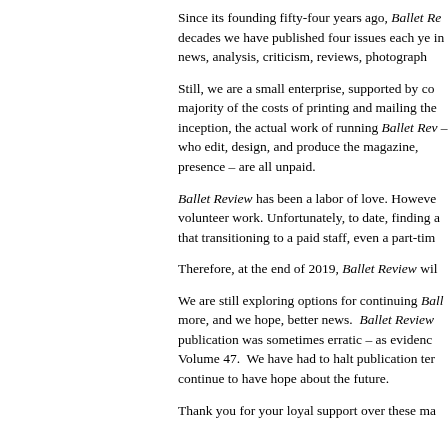Since its founding fifty-four years ago, Ballet Review... decades we have published four issues each ye... in news, analysis, criticism, reviews, photograph...
Still, we are a small enterprise, supported by co... majority of the costs of printing and mailing the... inception, the actual work of running Ballet Rev... – who edit, design, and produce the magazine,... presence – are all unpaid.
Ballet Review has been a labor of love. Howeve... volunteer work. Unfortunately, to date, finding a... that transitioning to a paid staff, even a part-tim...
Therefore, at the end of 2019, Ballet Review wil...
We are still exploring options for continuing Ball... more, and we hope, better news. Ballet Review... publication was sometimes erratic – as evidenc... Volume 47. We have had to halt publication ter... continue to have hope about the future.
Thank you for your loyal support over these ma...